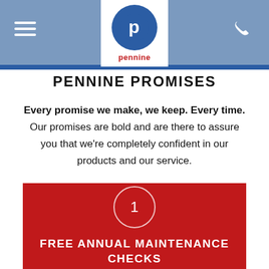Pennine – navigation header with menu, logo, and phone icon
PENNINE PROMISES
Every promise we make, we keep. Every time. Our promises are bold and are there to assure you that we're completely confident in our products and our service.
[Figure (infographic): Red card with number 1 in a circle and text FREE ANNUAL MAINTENANCE CHECKS]